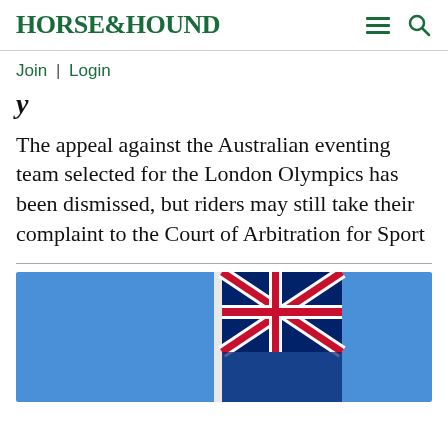HORSE&HOUND
Join | Login
y
The appeal against the Australian eventing team selected for the London Olympics has been dismissed, but riders may still take their complaint to the Court of Arbitration for Sport
[Figure (photo): Partial image of a flag (Union Jack) against a blue sky with a white flagpole]